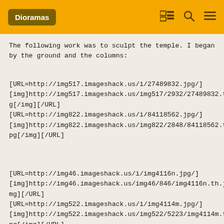Dioramas
The following work was to sculpt the temple. I began by the ground and the columns:
[URL=http://img517.imageshack.us/i/27489832.jpg/][img]http://img517.imageshack.us/img517/2932/27489832.th.jpg[/img][/URL]
[URL=http://img822.imageshack.us/i/84118562.jpg/][img]http://img822.imageshack.us/img822/2848/84118562.th.jpg[/img][/URL]
[URL=http://img46.imageshack.us/i/img4116n.jpg/][img]http://img46.imageshack.us/img46/846/img4116n.th.jpg[/img][/URL] [URL=http://img522.imageshack.us/i/img4114m.jpg/][img]http://img522.imageshack.us/img522/5223/img4114m.th.jpg[/img][/URL]
[URL=http://img816.imageshack.us/i/39286670.jpg/]